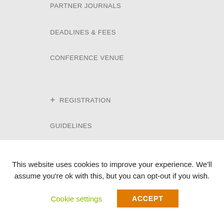PARTNER JOURNALS
DEADLINES & FEES
CONFERENCE VENUE
+ REGISTRATION
GUIDELINES
PUBLICATION ETHICS & MALPRACTICE STATEMENT
BEST PAPER AWARD
ARCHIVE
This website uses cookies to improve your experience. We'll assume you're ok with this, but you can opt-out if you wish.
Cookie settings
ACCEPT